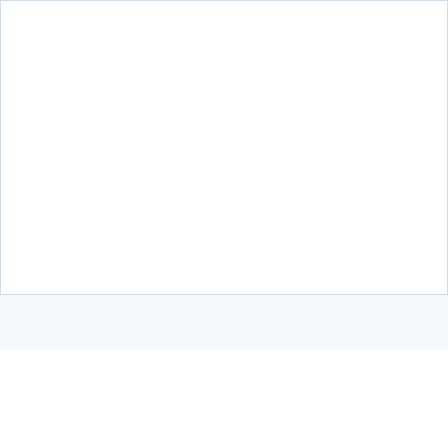[Figure (other): Large white rectangular area with a light blue/gray border, representing a blank or image placeholder region at the top of the page.]
About the Air Quality Index (AQI)